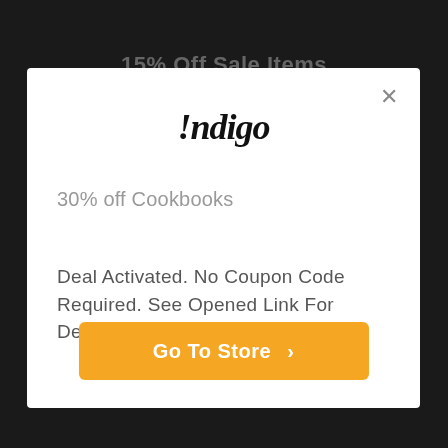15% Off Sale Items
[Figure (screenshot): Indigo store popup modal with logo, deal title '30% off Cookbooks', deal description, and orange 'Go To Store' button]
!ndigo
30% off Cookbooks
Deal Activated. No Coupon Code Required. See Opened Link For Details.
Go To Store >